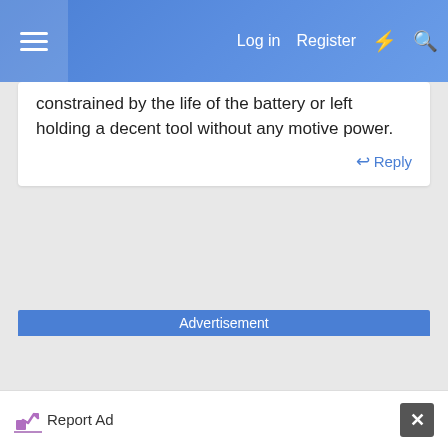Log in  Register
constrained by the life of the battery or left holding a decent tool without any motive power.
Reply
Advertisement
Report Ad